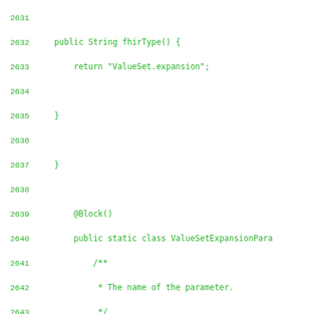Code listing lines 2631-2659, Java source code for FHIR ValueSet expansion parameter class